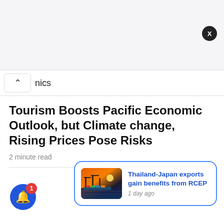nics
Tourism Boosts Pacific Economic Outlook, but Climate change, Rising Prices Pose Risks
2 minute read
[Figure (photo): Shipping port at sunset with containers and cranes, warm orange light reflecting on water]
Thailand-Japan exports gain benefits from RCEP
1 day ago